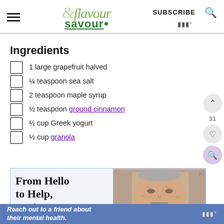& flavour savour — SUBSCRIBE
Ingredients
1 large grapefruit halved
¼ teaspoon sea salt
2 teaspoon maple syrup
½ teaspoon ground cinnamon
½ cup Greek yogurt
½ cup granola
[Figure (photo): Advertisement banner: 'From Hello to Help, 211 is Here' with close-up photo of elderly man's face]
Reach out to a friend about their mental health.